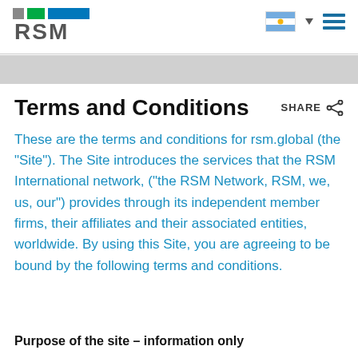RSM
Terms and Conditions
These are the terms and conditions for rsm.global (the "Site"). The Site introduces the services that the RSM International network, ("the RSM Network, RSM, we, us, our") provides through its independent member firms, their affiliates and their associated entities, worldwide. By using this Site, you are agreeing to be bound by the following terms and conditions.
Purpose of the site – information only